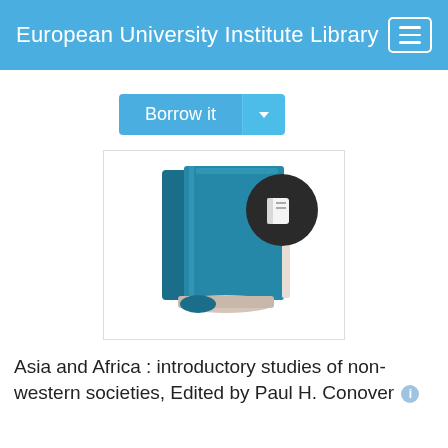European University Institute Library
Borrow it
[Figure (illustration): Book cover icon: a teal/blue colored book with a dark circular badge showing a white book symbol in the top right corner]
Asia and Africa : introductory studies of non-western societies, Edited by Paul H. Conover
Creator
Conover, Paul H